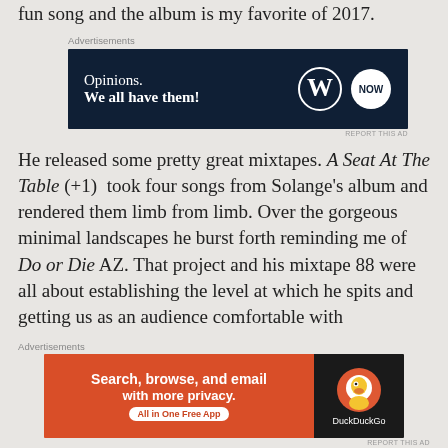fun song and the album is my favorite of 2017.
[Figure (screenshot): Advertisement banner with dark navy background. Text reads 'Opinions. We all have them!' with WordPress W logo and a circular 'now' logo on the right.]
He released some pretty great mixtapes. A Seat At The Table (+1) took four songs from Solange's album and rendered them limb from limb. Over the gorgeous minimal landscapes he burst forth reminding me of Do or Die AZ. That project and his mixtape 88 were all about establishing the level at which he spits and getting us as an audience comfortable with that.
[Figure (screenshot): Advertisement banner for DuckDuckGo. Orange/red left panel with text 'Search, browse, and email with more privacy. All in One Free App'. Dark right panel with DuckDuckGo duck logo and brand name.]